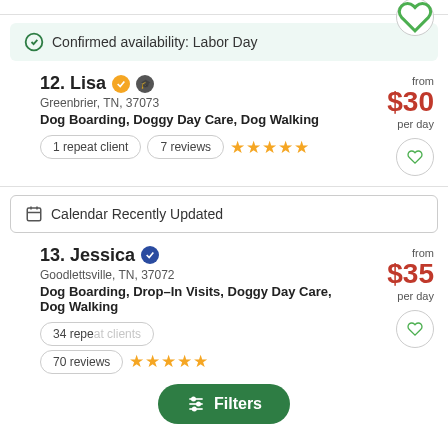[Figure (other): Top partial listing with heart/favorite button visible at top right]
Confirmed availability: Labor Day
12. Lisa — Greenbrier, TN, 37073 — Dog Boarding, Doggy Day Care, Dog Walking — 1 repeat client, 7 reviews, 5 stars — from $30 per day
Calendar Recently Updated
13. Jessica — Goodlettsville, TN, 37072 — Dog Boarding, Drop-In Visits, Doggy Day Care, Dog Walking — 34 repeat clients, 70 reviews, 5 stars — from $35 per day
[Figure (other): Filters button overlay at bottom center]